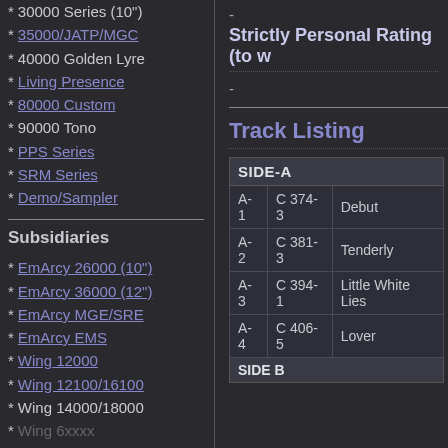* 30000 Series (10")
* 35000/JATP/MGC
* 40000 Golden Lyre
* Living Presence
* 80000 Custom
* 90000 Tono
* PPS Series
* SRM Series
* Demo/Sampler
Subsidiaries
* EmArcy 26000 (10")
* EmArcy 36000 (12")
* EmArcy MGE/SRE
* EmArcy EMS
* Wing 12000
* Wing 12100/16100
* Wing 14000/18000
-
Strictly Personal Rating (to w
-
Track Listing
| SIDE-A |  |  |
| --- | --- | --- |
| A-1 | C 374-3 | Debut |
| A-2 | C 381-3 | Tenderly |
| A-3 | C 394-1 | Little White Lies |
| A-4 | C 406-5 | Lover |
| SIDE B |  |  |